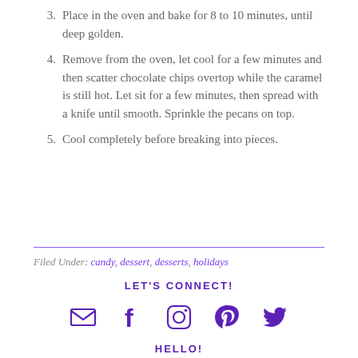3. Place in the oven and bake for 8 to 10 minutes, until deep golden.
4. Remove from the oven, let cool for a few minutes and then scatter chocolate chips overtop while the caramel is still hot. Let sit for a few minutes, then spread with a knife until smooth. Sprinkle the pecans on top.
5. Cool completely before breaking into pieces.
Filed Under: candy, dessert, desserts, holidays
LET'S CONNECT!
[Figure (illustration): Social media icons: email envelope, Facebook, Instagram, Pinterest, Twitter — all in purple]
HELLO!